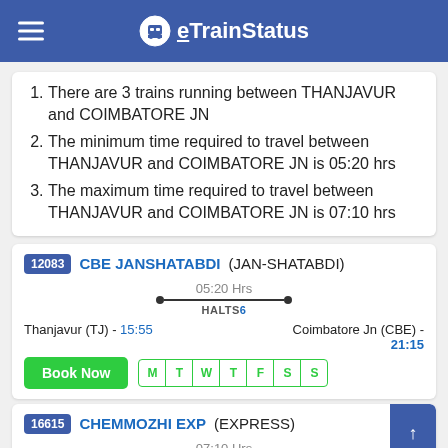eTrainStatus
There are 3 trains running between THANJAVUR and COIMBATORE JN
The minimum time required to travel between THANJAVUR and COIMBATORE JN is 05:20 hrs
The maximum time required to travel between THANJAVUR and COIMBATORE JN is 07:10 hrs
12083 CBE JANSHATABDI (JAN-SHATABDI)
05:20 Hrs | HALTS 6
Thanjavur (TJ) - 15:55 | Coimbatore Jn (CBE) - 21:15
Book Now | M T W T F S S
16615 CHEMMOZHI EXP (EXPRESS)
07:10 Hrs